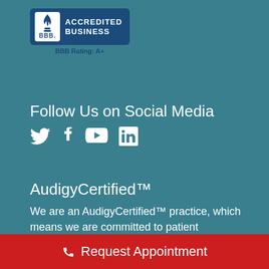[Figure (logo): BBB Accredited Business badge with A+ rating. Blue rounded rectangle with BBB logo on left and 'ACCREDITED BUSINESS' text on right. 'BBB Rating: A+' below in dark blue.]
Follow Us on Social Media
[Figure (infographic): Social media icons: Twitter bird, Facebook f, YouTube play button, LinkedIn in]
AudigyCertified™
We are an AudigyCertified™ practice, which means we are committed to patient satisfaction, continuing education, and the expert application
Request Appointment